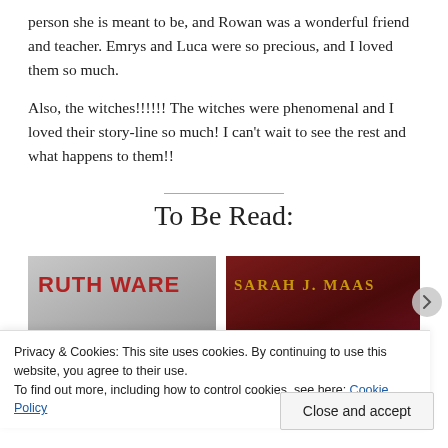person she is meant to be, and Rowan was a wonderful friend and teacher. Emrys and Luca were so precious, and I loved them so much.
Also, the witches!!!!!! The witches were phenomenal and I loved their story-line so much! I can't wait to see the rest and what happens to them!!
To Be Read:
[Figure (photo): Book cover showing 'RUTH WARE' in red text on a grey background]
[Figure (photo): Book cover showing 'SARAH J. MAAS' in gold text on a dark red/maroon background]
Privacy & Cookies: This site uses cookies. By continuing to use this website, you agree to their use.
To find out more, including how to control cookies, see here: Cookie Policy
Close and accept